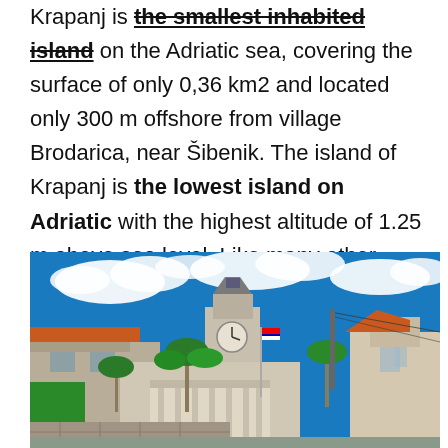Krapanj is the smallest inhabited island on the Adriatic sea, covering the surface of only 0,36 km2 and located only 300 m offshore from village Brodarica, near Šibenik. The island of Krapanj is the lowest island on Adriatic with the highest altitude of 1.25 m above sea level. Like many other Dalmatian sites, Krapanj is famous for its stone houses and narrow streets.
[Figure (photo): Photograph of Krapanj island showing stone buildings with orange tile roofs, a clock tower, palm trees, clear blue sky with white clouds, and a Croatian flag on a pole.]